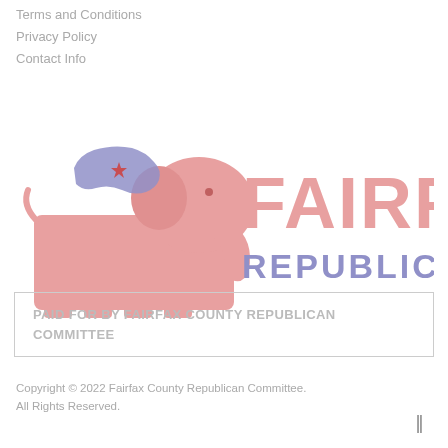Terms and Conditions
Privacy Policy
Contact Info
[Figure (logo): Fairfax Republicans logo: stylized Republican elephant in pink/red with Virginia state silhouette in purple/lavender on top, text 'FAIRFAX' in large pink letters and 'REPUBLICANS' in purple letters below]
PAID FOR BY FAIRFAX COUNTY REPUBLICAN COMMITTEE
Copyright © 2022 Fairfax County Republican Committee. All Rights Reserved.